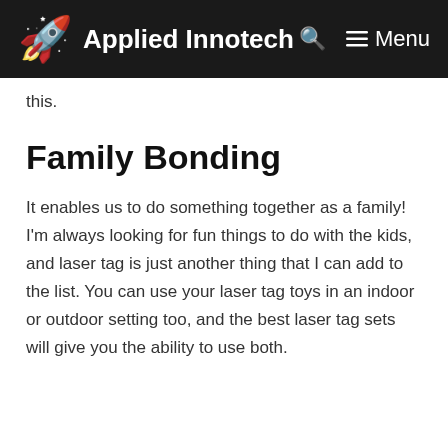Applied Innotech
this.
Family Bonding
It enables us to do something together as a family! I'm always looking for fun things to do with the kids, and laser tag is just another thing that I can add to the list. You can use your laser tag toys in an indoor or outdoor setting too, and the best laser tag sets will give you the ability to use both.